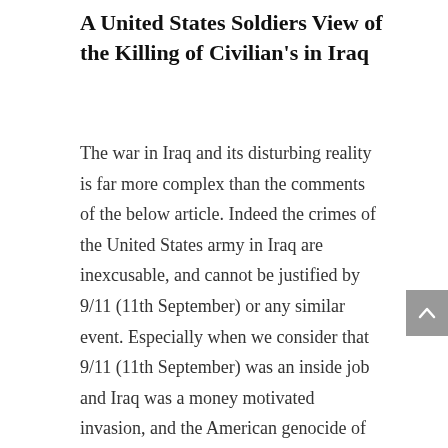A United States Soldiers View of the Killing of Civilian's in Iraq
The war in Iraq and its disturbing reality is far more complex than the comments of the below article. Indeed the crimes of the United States army in Iraq are inexcusable, and cannot be justified by 9/11 (11th September) or any similar event. Especially when we consider that 9/11 (11th September) was an inside job and Iraq was a money motivated invasion, and the American genocide of Iraq shows its true dimensions